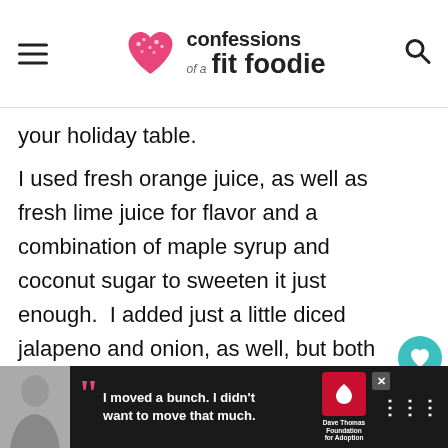confessions of a fit foodie
your holiday table.
I used fresh orange juice, as well as fresh lime juice for flavor and a combination of maple syrup and coconut sugar to sweeten it just enough.  I added just a little diced jalapeno and onion, as well, but both of these could be increased if you want a stronger or spicier flavor.
[Figure (other): Advertisement banner at bottom: teen boy photo, quote 'I moved a bunch. I didn't want to move that much.' with Dave Thomas Foundation for Adoption logo]